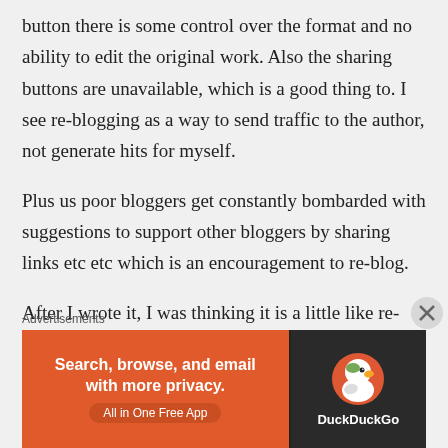button there is some control over the format and no ability to edit the original work. Also the sharing buttons are unavailable, which is a good thing to. I see re-blogging as a way to send traffic to the author, not generate hits for myself.
Plus us poor bloggers get constantly bombarded with suggestions to support other bloggers by sharing links etc etc which is an encouragement to re-blog.
After I wrote it, I was thinking it is a little like re-tweeting and the Twittersphere thrives
Advertisements
[Figure (infographic): DuckDuckGo advertisement banner: orange left side with text 'Search, browse, and email with more privacy. All in One Free App', dark right side with DuckDuckGo duck logo and brand name.]